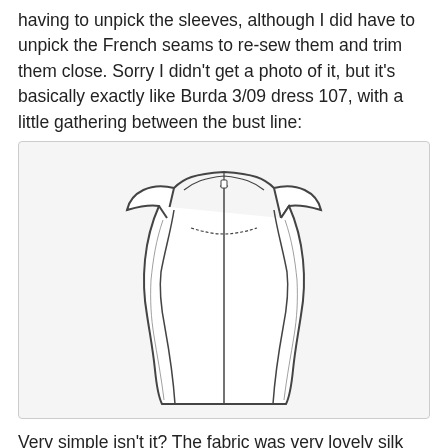having to unpick the sleeves, although I did have to unpick the French seams to re-sew them and trim them close. Sorry I didn't get a photo of it, but it's basically exactly like Burda 3/09 dress 107, with a little gathering between the bust line:
[Figure (illustration): Line drawing / technical flat of a dress pattern (Burda 3/09 dress 107) showing a front view of a fitted short-sleeve dress with princess seams, a round neckline, cap sleeves, and vertical construction lines.]
Very simple isn't it? The fabric was very lovely silk lace and the design timeless, but I'm still not sure it was worth $700, especially as it was made in China. But I guess in the end any item is worth whatever someone is willing to pay....